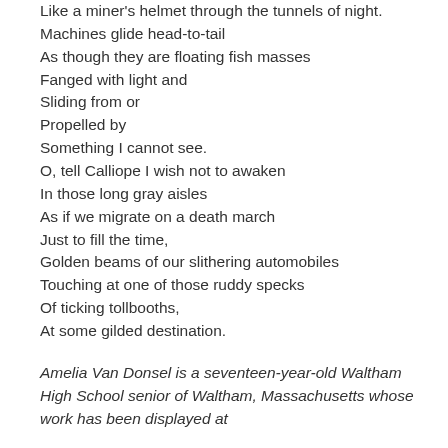Like a miner's helmet through the tunnels of night.
Machines glide head-to-tail
As though they are floating fish masses
Fanged with light and
Sliding from or
Propelled by
Something I cannot see.
O, tell Calliope I wish not to awaken
In those long gray aisles
As if we migrate on a death march
Just to fill the time,
Golden beams of our slithering automobiles
Touching at one of those ruddy specks
Of ticking tollbooths,
At some gilded destination.
Amelia Van Donsel is a seventeen-year-old Waltham High School senior of Waltham, Massachusetts whose work has been displayed at